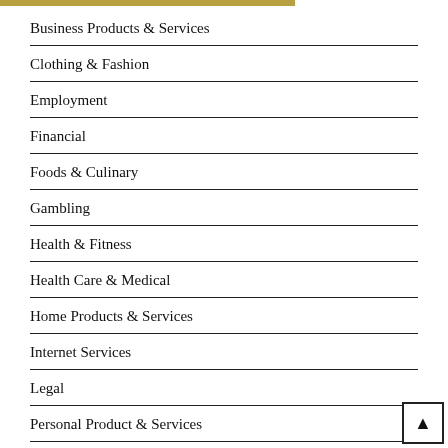Business Products & Services
Clothing & Fashion
Employment
Financial
Foods & Culinary
Gambling
Health & Fitness
Health Care & Medical
Home Products & Services
Internet Services
Legal
Personal Product & Services
Pets & Animals